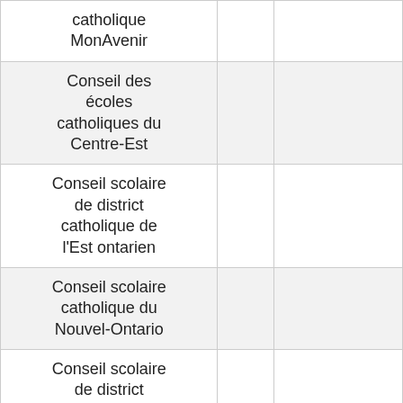| catholique MonAvenir |  |  |
| Conseil des écoles catholiques du Centre-Est |  |  |
| Conseil scolaire de district catholique de l'Est ontarien |  |  |
| Conseil scolaire catholique du Nouvel-Ontario |  |  |
| Conseil scolaire de district catholique des Aurores... |  |  |